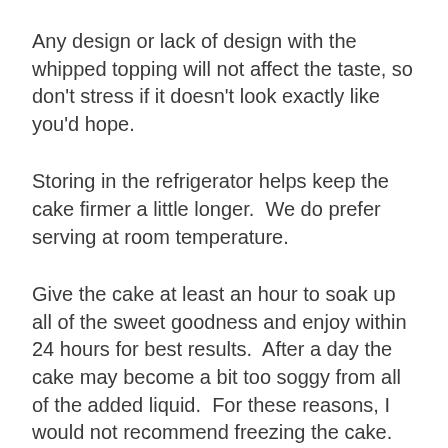Any design or lack of design with the whipped topping will not affect the taste, so don’t stress if it doesn’t look exactly like you’d hope.
Storing in the refrigerator helps keep the cake firmer a little longer.  We do prefer serving at room temperature.
Give the cake at least an hour to soak up all of the sweet goodness and enjoy within 24 hours for best results.  After a day the cake may become a bit too soggy from all of the added liquid.  For these reasons, I would not recommend freezing the cake.